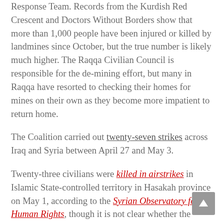Response Team. Records from the Kurdish Red Crescent and Doctors Without Borders show that more than 1,000 people have been injured or killed by landmines since October, but the true number is likely much higher. The Raqqa Civilian Council is responsible for the de-mining effort, but many in Raqqa have resorted to checking their homes for mines on their own as they become more impatient to return home.
The Coalition carried out twenty-seven strikes across Iraq and Syria between April 27 and May 3.
Twenty-three civilians were killed in airstrikes in Islamic State-controlled territory in Hasakah province on May 1, according to the Syrian Observatory for Human Rights, though it is not clear whether the strikes were carried out by the Iraqi Air Force or the Coalition. The twenty-three civilians killed include ten children, six women, and seven